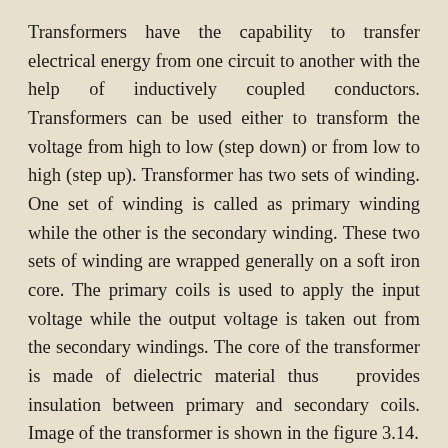Transformers have the capability to transfer electrical energy from one circuit to another with the help of inductively coupled conductors. Transformers can be used either to transform the voltage from high to low (step down) or from low to high (step up). Transformer has two sets of winding. One set of winding is called as primary winding while the other is the secondary winding. These two sets of winding are wrapped generally on a soft iron core. The primary coils is used to apply the input voltage while the output voltage is taken out from the secondary windings. The core of the transformer is made of dielectric material thus  provides insulation between primary and secondary coils. Image of the transformer is shown in the figure 3.14.
When varying current (AC) is applied to the primary winding of the transformer, a varying magnetic field...